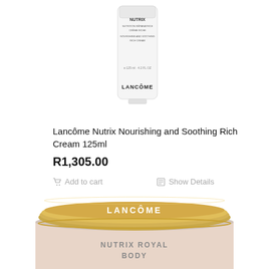[Figure (photo): Lancôme Nutrix tube product, white cylindrical container with gold cap, showing brand name and product details, 125ml 4.2 FL OZ]
Lancôme Nutrix Nourishing and Soothing Rich Cream 125ml
R1,305.00
Add to cart
Show Details
[Figure (photo): Lancôme Nutrix Royal Body cream jar with gold lid showing LANCÔME branding, cream colored jar with NUTRIX ROYAL BODY text visible]